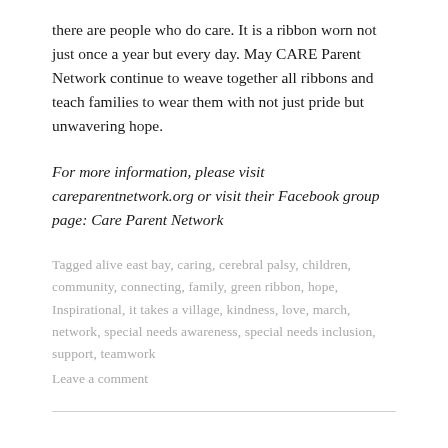there are people who do care. It is a ribbon worn not just once a year but every day. May CARE Parent Network continue to weave together all ribbons and teach families to wear them with not just pride but unwavering hope.
For more information, please visit careparentnetwork.org or visit their Facebook group page: Care Parent Network
Tagged alive east bay, caring, cerebral palsy, children, community, connecting, family, green ribbon, hope, Inspirational, it takes a village, kindness, love, march, network, special needs awareness, special needs inclusion, support, teamwork
Leave a comment